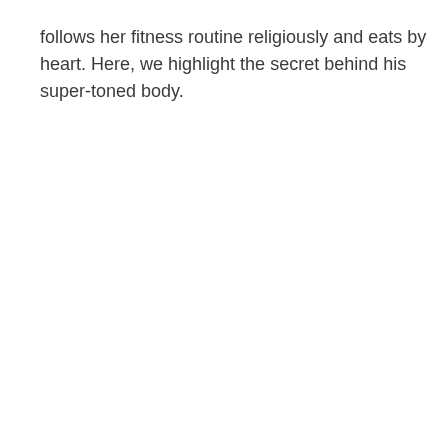follows her fitness routine religiously and eats by heart. Here, we highlight the secret behind his super-toned body.